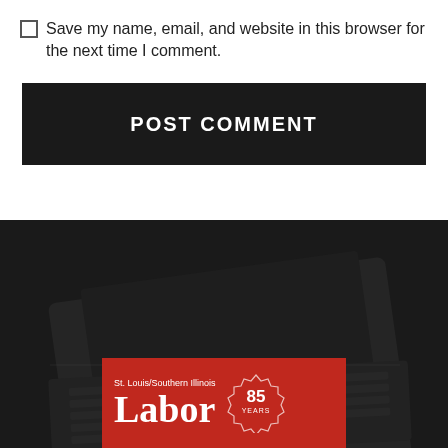Save my name, email, and website in this browser for the next time I comment.
POST COMMENT
[Figure (photo): Dark background showing a laptop keyboard in low light, with a red banner at the bottom showing 'St. Louis/Southern Illinois Labor 85 YEARS']